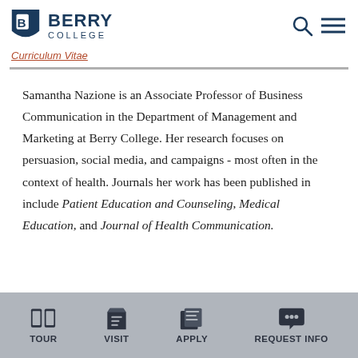Berry College
Curriculum Vitae
Samantha Nazione is an Associate Professor of Business Communication in the Department of Management and Marketing at Berry College. Her research focuses on persuasion, social media, and campaigns - most often in the context of health. Journals her work has been published in include Patient Education and Counseling, Medical Education, and Journal of Health Communication.
TOUR VISIT APPLY REQUEST INFO